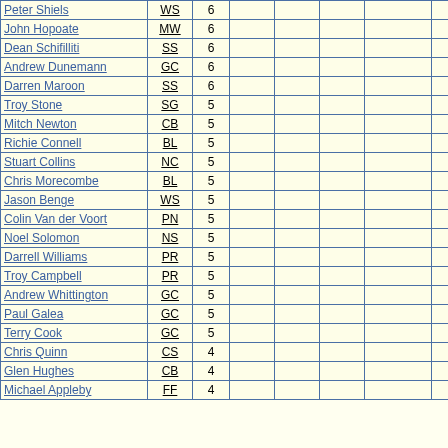| Name | Team | Points |  |  |  |  |  |
| --- | --- | --- | --- | --- | --- | --- | --- |
| Peter Shiels | WS | 6 |  |  |  |  |  |
| John Hopoate | MW | 6 |  |  |  |  |  |
| Dean Schifilliti | SS | 6 |  |  |  |  |  |
| Andrew Dunemann | GC | 6 |  |  |  |  |  |
| Darren Maroon | SS | 6 |  |  |  |  |  |
| Troy Stone | SG | 5 |  |  |  |  |  |
| Mitch Newton | CB | 5 |  |  |  |  |  |
| Richie Connell | BL | 5 |  |  |  |  |  |
| Stuart Collins | NC | 5 |  |  |  |  |  |
| Chris Morecombe | BL | 5 |  |  |  |  |  |
| Jason Benge | WS | 5 |  |  |  |  |  |
| Colin Van der Voort | PN | 5 |  |  |  |  |  |
| Noel Solomon | NS | 5 |  |  |  |  |  |
| Darrell Williams | PR | 5 |  |  |  |  |  |
| Troy Campbell | PR | 5 |  |  |  |  |  |
| Andrew Whittington | GC | 5 |  |  |  |  |  |
| Paul Galea | GC | 5 |  |  |  |  |  |
| Terry Cook | GC | 5 |  |  |  |  |  |
| Chris Quinn | CS | 4 |  |  |  |  |  |
| Glen Hughes | CB | 4 |  |  |  |  |  |
| Michael Appleby | FF | 4 |  |  |  |  |  |